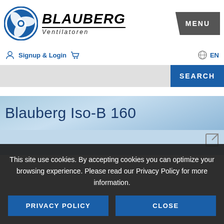[Figure (logo): Blauberg Ventilatoren logo with circular fan blade icon in blue, bold italic BLAUBERG text, and italic Ventilatoren subtitle]
MENU
Signup & Login
EN
SEARCH
Blauberg Iso-B 160
This site use cookies. By accepting cookies you can optimize your browsing experience. Please read our Privacy Policy for more information.
PRIVACY POLICY
CLOSE